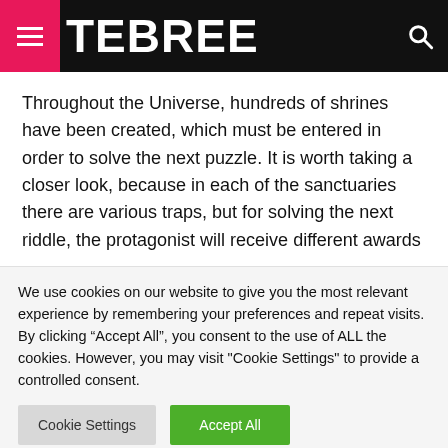TEBREE
Throughout the Universe, hundreds of shrines have been created, which must be entered in order to solve the next puzzle. It is worth taking a closer look, because in each of the sanctuaries there are various traps, but for solving the next riddle, the protagonist will receive different awards
We use cookies on our website to give you the most relevant experience by remembering your preferences and repeat visits. By clicking “Accept All”, you consent to the use of ALL the cookies. However, you may visit "Cookie Settings" to provide a controlled consent.